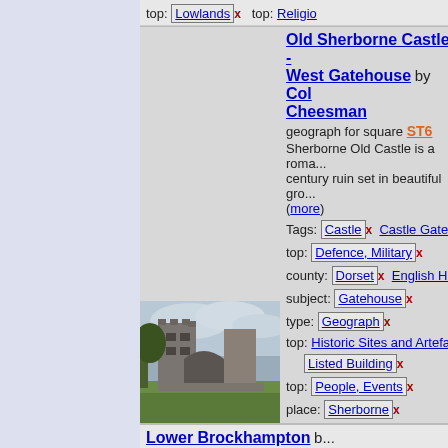top: Lowlands x   top: Religio...
Old Sherborne Castle - West Gatehouse by Colin Cheesman geograph for square ST6... Sherborne Old Castle is a roman century ruin set in beautiful gro... (more) Tags: Castle x Castle Gate... top: Defence, Military x county: Dorset x English Hi... subject: Gatehouse x type: Geograph x top: Historic Sites and Artefa... Listed Building x top: People, Events x place: Sherborne x
[Figure (photo): Photo of Old Sherborne Castle West Gatehouse - a stone gatehouse ruin with arch visible against a cloudy sky with trees]
Lower Brockhampton by Halling